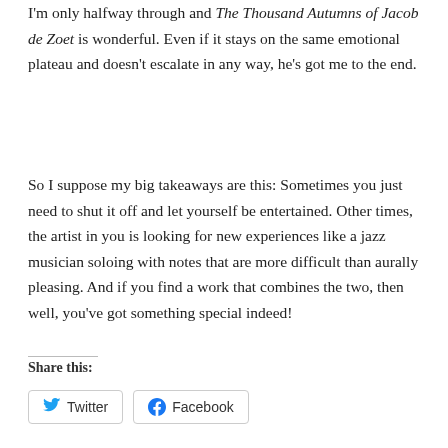I'm only halfway through and The Thousand Autumns of Jacob de Zoet is wonderful. Even if it stays on the same emotional plateau and doesn't escalate in any way, he's got me to the end.
So I suppose my big takeaways are this: Sometimes you just need to shut it off and let yourself be entertained. Other times, the artist in you is looking for new experiences like a jazz musician soloing with notes that are more difficult than aurally pleasing. And if you find a work that combines the two, then well, you've got something special indeed!
Share this: